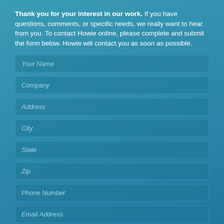Thank you for your interest in our work. If you have questions, comments, or specific needs, we really want to hear from you. To contact Howie online, please complete and submit the form below. Howie will contact you as soon as possible.
Your Name
Company
Address
City
State
Zip
Phone Number
Email Address